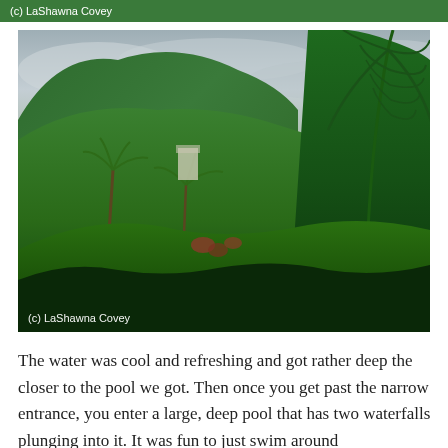(c) LaShawna Covey
[Figure (photo): Lush tropical hillside with dense green vegetation, palm trees, and a grey overcast sky. A light-colored structure is partially visible among the vegetation. Large tropical plant in foreground right.]
(c) LaShawna Covey
The water was cool and refreshing and got rather deep the closer to the pool we got. Then once you get past the narrow entrance, you enter a large, deep pool that has two waterfalls plunging into it. It was fun to just swim around